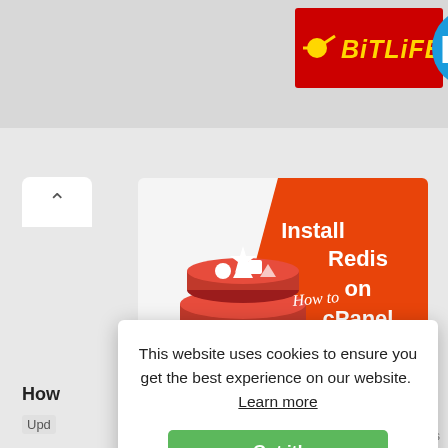[Figure (screenshot): BitLife app advertisement banner — red background with BitLife logo in yellow italic text and a connected dot/line icon, partially cropped on right with a blue circular tab showing letter D]
[Figure (screenshot): Redis 'How to Install Redis on cPanel' article thumbnail image — left side shows Redis stacked disk logo in red with 'redis' text below in grey, right side orange diagonal background with white italic 'How to' script text and bold white 'Install Redis on cPanel' heading]
This website uses cookies to ensure you get the best experience on our website.  Learn more
Got it!
How
Upd